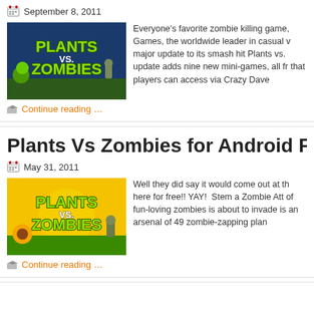September 8, 2011
[Figure (photo): Plants vs. Zombies game logo/artwork with dark blue sky background, featuring the Plants vs. Zombies title and various plant and zombie characters]
Everyone's favorite zombie killing game... Games, the worldwide leader in casual ... major update to its smash hit Plants vs. ... update adds nine new mini-games, all fr... that players can access via Crazy Dave...
Continue reading …
Plants Vs Zombies for Android Free Today on An...
May 31, 2011
[Figure (photo): Plants vs. Zombies game logo/artwork with sunny yellow background, featuring sunflower, zombies and the Plants vs. Zombies title]
Well they did say it would come out at th... here for free!! YAY!  Stem a Zombie Att... of fun-loving zombies is about to invade... is an arsenal of 49 zombie-zapping plan...
Continue reading …